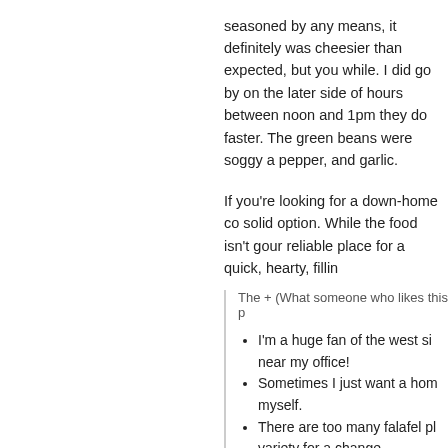seasoned by any means, it definitely was cheesier than expected, but you while. I did go by on the later side of hours between noon and 1pm they do faster. The green beans were soggy a pepper, and garlic.
If you're looking for a down-home co solid option. While the food isn't gour reliable place for a quick, hearty, fillin
The + (What someone who likes this p
I'm a huge fan of the west si near my office!
Sometimes I just want a hom myself.
There are too many falafel pl variety for a change.
The – (What someone who doesn't lik
It's kind of expensive for wha
Everything could have a bit m